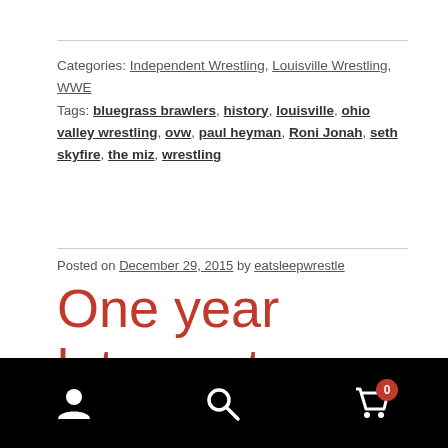Categories: Independent Wrestling, Louisville Wrestling, WWE
Tags: bluegrass brawlers, history, louisville, ohio valley wrestling, ovw, paul heyman, Roni Jonah, seth skyfire, the miz, wrestling
Posted on December 29, 2015 by eatsleepwrestle
One year later…. top ten posts
It's been a year since I started this blog experiment, and
Navigation bar with user, search, and cart (0) icons